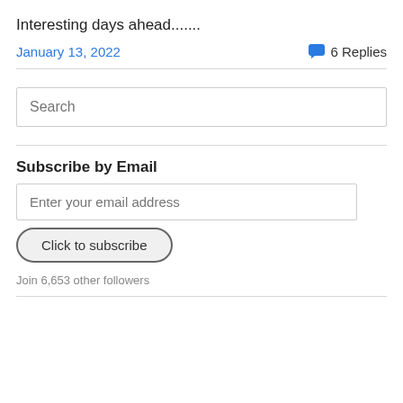Interesting days ahead.......
January 13, 2022    💬 6 Replies
Search
Subscribe by Email
Enter your email address
Click to subscribe
Join 6,653 other followers